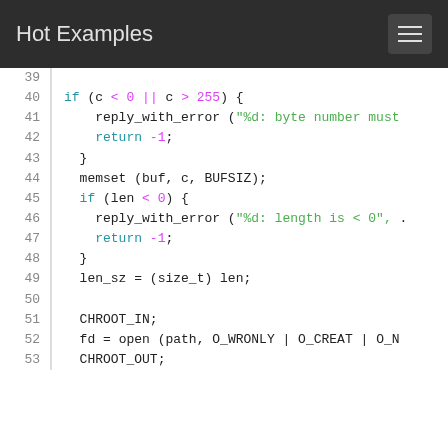Hot Examples
[Figure (screenshot): Syntax-highlighted C source code, lines 39–53, showing if-guards on byte value and length, memset call, chroot macros, and open() call.]